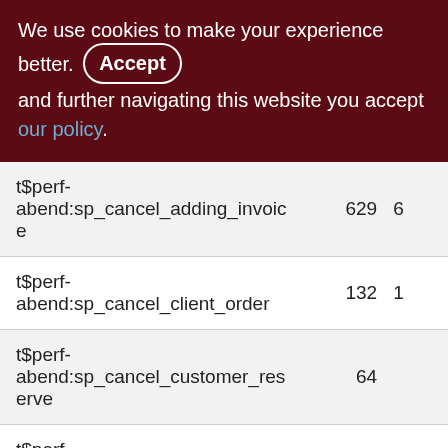We use cookies to make your experience better. By accepting and further navigating this website you accept our policy.
| Name | Value1 | Value2 |
| --- | --- | --- |
| t$perf-abend:sp_cancel_adding_invoice | 629 | 6 |
| t$perf-abend:sp_cancel_client_order | 132 | 1 |
| t$perf-abend:sp_cancel_customer_reserve | 64 |  |
| t$perf-abend:sp_cancel_pay_from_customer | 7 |  |
| t$perf-abend:sp_cancel_pay_to_supplier |  |  |
| t$perf- | 637 | 6 |